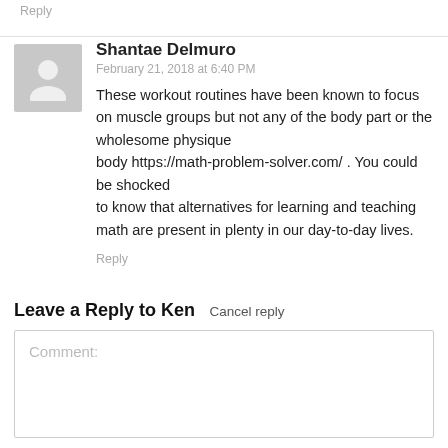Reply
Shantae Delmuro
February 21, 2018 at 6:40 PM
These workout routines have been known to focus on muscle groups but not any of the body part or the wholesome physique body https://math-problem-solver.com/ . You could be shocked to know that alternatives for learning and teaching math are present in plenty in our day-to-day lives.
Reply
Leave a Reply to Ken   Cancel reply
Comment: